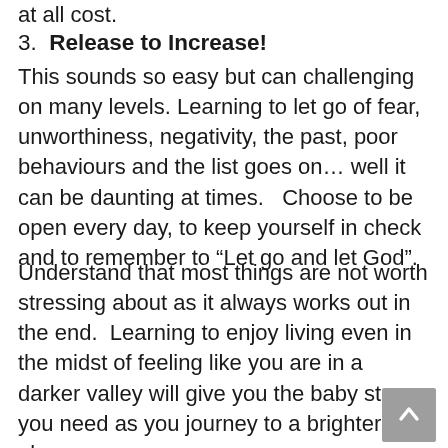at all cost.
3.  Release to Increase!
This sounds so easy but can challenging on many levels. Learning to let go of fear, unworthiness, negativity, the past, poor behaviours and the list goes on… well it can be daunting at times.   Choose to be open every day, to keep yourself in check and to remember to “Let go and let God”.
Understand that most things are not worth stressing about as it always works out in the end.  Learning to enjoy living even in the midst of feeling like you are in a darker valley will give you the baby steps you need as you journey to a brighter place.